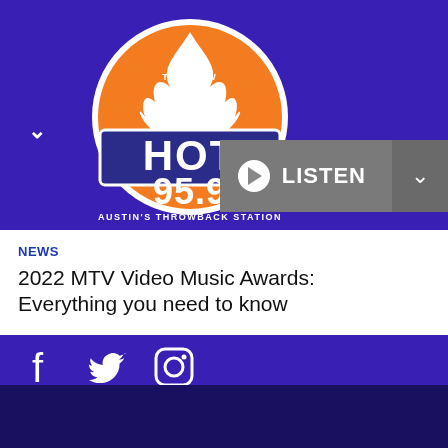[Figure (logo): HOT 95.9 Austin's Throwback Station radio station logo with orange flame and circle]
NEWS
2022 MTV Video Music Awards: Everything you need to know
[Figure (illustration): Social media icons: Facebook, Twitter, Instagram]
HOT 95.9 Austin | Austin's Throwback Station
Listen Live